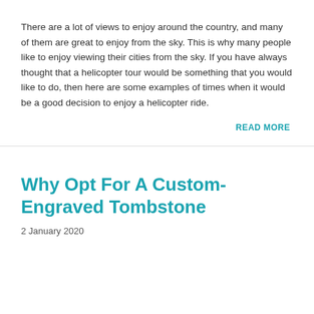There are a lot of views to enjoy around the country, and many of them are great to enjoy from the sky. This is why many people like to enjoy viewing their cities from the sky. If you have always thought that a helicopter tour would be something that you would like to do, then here are some examples of times when it would be a good decision to enjoy a helicopter ride.
READ MORE
Why Opt For A Custom-Engraved Tombstone
2 January 2020